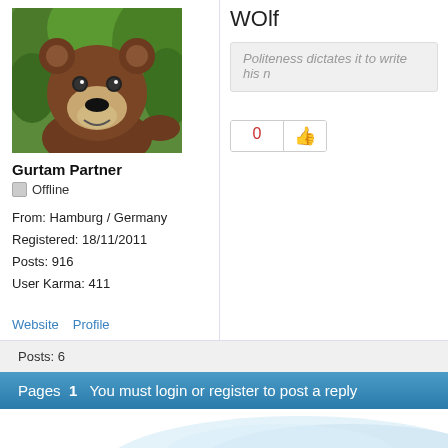[Figure (photo): Avatar image of a cartoon bear (Masha and the Bear character) in a forest background]
Gurtam Partner
Offline
From: Hamburg / Germany
Registered: 18/11/2011
Posts: 916
User Karma: 411
WOlf
Politeness dictates it to write his n
Website   Profile
0
Posts: 6
Pages  1  You must login or register to post a reply
© Gurtam; info@gurtam.com